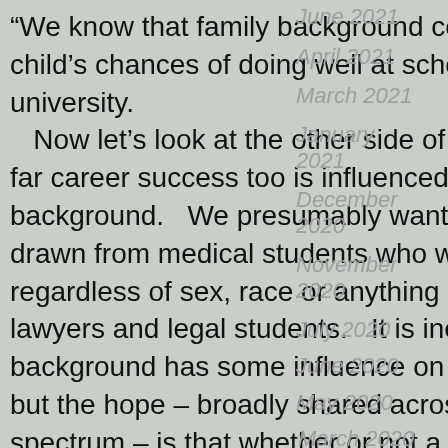“We know that family background counts for a lot in a child’s chances of doing well at school and going on to university. Now let’s look at the other side of our equation, at how far career success too is influenced by family background. We presumably want our doctors to be drawn from medical students who were the best available, regardless of sex, race or anything else. Likewise for our lawyers and legal students. It is inevitable that social background has some influence on education and career, but the hope – broadly shared across the political spectrum – is that whether or not a family is well-off should be a diminishing influence. This is the key to social mobility and young people’s chances of doing better than their parents.
Women now outnumber men in medical schools by about 3:2 [check]. But where do the graduates come from? Are they...
June 2021
April 2021
March 2021
January 2021
December 2020
November 2020
July 2020
June 2020
May 2020
March 2020
February 2020
January 2020
December 2019
November